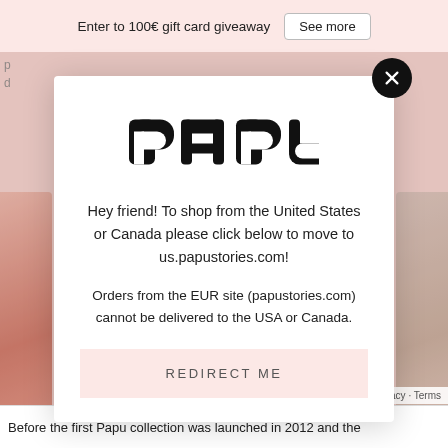Enter to 100€ gift card giveaway   See more
[Figure (screenshot): Modal dialog on the Papu Stories website with logo, redirect message, and button]
Hey friend! To shop from the United States or Canada please click below to move to us.papustories.com!
Orders from the EUR site (papustories.com) cannot be delivered to the USA or Canada.
REDIRECT ME
Before the first Papu collection was launched in 2012 and the